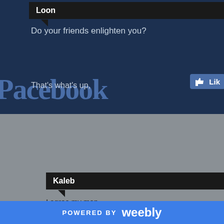Do your friends enlighten you?
[Figure (screenshot): Facebook-style comment thread screenshot with dark background. Shows a partially visible Facebook logo text 'Pacebook' and a Like button on the right.]
Loon
That's what's up,
Kaleb
I agree my man.
Tamryn
Maybe you should work on being more enlightened person.
POWERED BY weebly